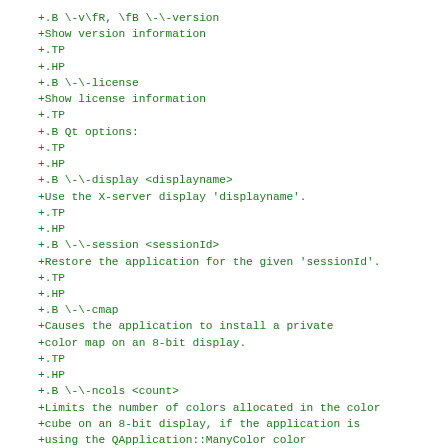+.B \-v\fR, \fB \-\-version
+Show version information
+.TP
+.HP
+.B \-\-license
+Show license information
+.TP
+.B Qt options:
+.TP
+.HP
+.B \-\-display <displayname>
+Use the X-server display 'displayname'.
+.TP
+.HP
+.B \-\-session <sessionId>
+Restore the application for the given 'sessionId'.
+.TP
+.HP
+.B \-\-cmap
+Causes the application to install a private
+color map on an 8-bit display.
+.TP
+.HP
+.B \-\-ncols <count>
+Limits the number of colors allocated in the color
+cube on an 8-bit display, if the application is
+using the QApplication::ManyColor color
+specification.
+.TP
+.HP